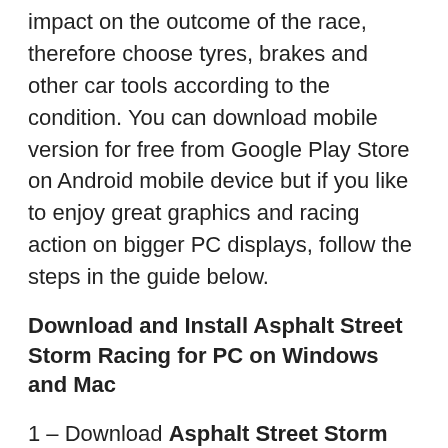impact on the outcome of the race, therefore choose tyres, brakes and other car tools according to the condition. You can download mobile version for free from Google Play Store on Android mobile device but if you like to enjoy great graphics and racing action on bigger PC displays, follow the steps in the guide below.
Download and Install Asphalt Street Storm Racing for PC on Windows and Mac
1 – Download Asphalt Street Storm Racing APK on PC.